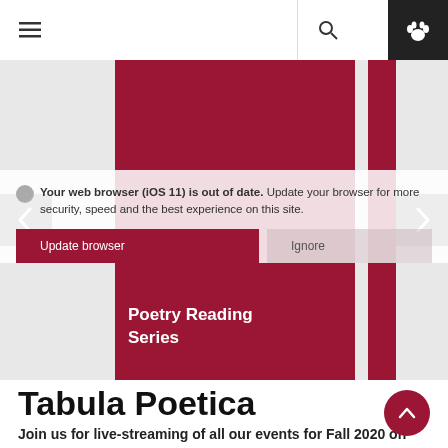Navigation bar with hamburger menu, search icon, and paw icon
[Figure (screenshot): Website carousel with dark red banner blocks showing 'Poetry Reading Series' text, browser update notification overlay with 'Update browser' and 'Ignore' buttons, and left/right navigation arrows]
Tabula Poetica
Join us for live-streaming of all our events for Fall 2020 on the Tabula Poetica YouTube channel